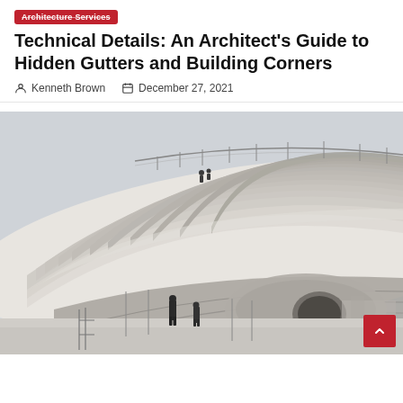Architecture Services
Technical Details: An Architect's Guide to Hidden Gutters and Building Corners
Kenneth Brown   December 27, 2021
[Figure (photo): Modern curved architectural building exterior with layered white stone or marble cladding. People stand on a rooftop terrace behind a metal railing. Two figures stand at ground level below the sweeping cantilevered roof edge. The building has a dramatic organic sculptural form with concentric curved surfaces.]